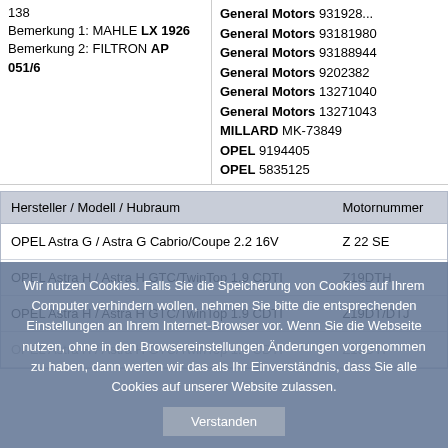|  |  |
| --- | --- |
| 138
Bemerkung 1: MAHLE LX 1926
Bemerkung 2: FILTRON AP 051/6 | General Motors 93192...
General Motors 93181980
General Motors 93188944
General Motors 9202382
General Motors 13271040
General Motors 13271043
MILLARD MK-73849
OPEL 9194405
OPEL 5835125 |
| Hersteller / Modell / Hubraum | Motornummer |
| --- | --- |
| OPEL Astra G / Astra G Cabrio/Coupe 2.2 16V | Z 22 SE |
| OPEL Astra H / Astra H GTC/TwinTop 1.9 CDTI | Z19DTH |
| OPEL Astra H / Astra H GTC/TwinTop 1.9 CDTI | Z19DT/DTJ |
| OPEL Astra H / Astra H GTC/TwinTop 1.9 CDTI | Z19DTI |
Wir nutzen Cookies. Falls Sie die Speicherung von Cookies auf Ihrem Computer verhindern wollen, nehmen Sie bitte die entsprechenden Einstellungen an Ihrem Internet-Browser vor. Wenn Sie die Webseite nutzen, ohne in den Browsereinstellungen Änderungen vorgenommen zu haben, dann werten wir das als Ihr Einverständnis, dass Sie alle Cookies auf unserer Website zulassen.